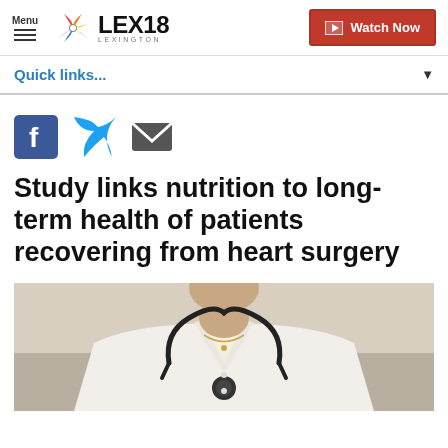Menu | LEX18 LEXINGTON | Watch Now
Quick links...
[Figure (other): Social sharing icons: Facebook, Twitter, Email]
Study links nutrition to long-term health of patients recovering from heart surgery
[Figure (photo): Close-up photo of a medical professional in a white coat with a stethoscope around their neck]